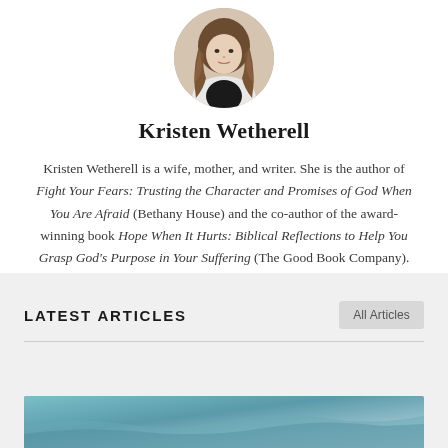[Figure (photo): Circular portrait photo of Kristen Wetherell, a woman with long brown/blonde wavy hair wearing a black top and white jacket]
Kristen Wetherell
Kristen Wetherell is a wife, mother, and writer. She is the author of Fight Your Fears: Trusting the Character and Promises of God When You Are Afraid (Bethany House) and the co-author of the award-winning book Hope When It Hurts: Biblical Reflections to Help You Grasp God's Purpose in Your Suffering (The Good Book Company).
LATEST ARTICLES
All Articles
[Figure (photo): Partial view of an article thumbnail image showing a coastal/ocean scene with teal and light blue tones]